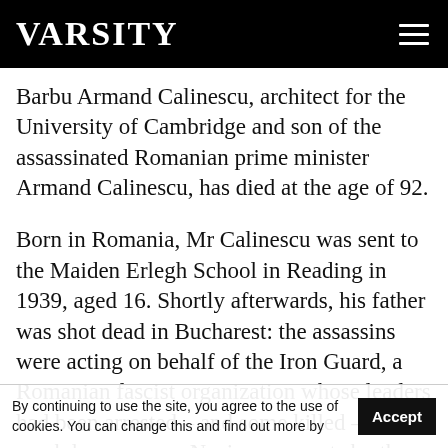VARSITY
Barbu Armand Calinescu, architect for the University of Cambridge and son of the assassinated Romanian prime minister Armand Calinescu, has died at the age of 92.
Born in Romania, Mr Calinescu was sent to the Maiden Erlegh School in Reading in 1939, aged 16. Shortly afterwards, his father was shot dead in Bucharest: the assassins were acting on behalf of the Iron Guard, a Romanian fascist organization whose leaders had been arrested – and some killed – in a crackdown on pro-Nazi movements by the authoritarian National Renaissance Front government.
One year later, the remaining members of Arma... ...by the Nazi-
By continuing to use the site, you agree to the use of cookies. You can change this and find out more by